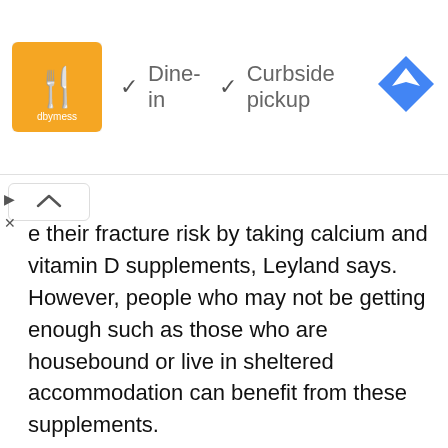[Figure (screenshot): Ad banner showing a restaurant logo (orange/yellow square with fork icon), checkmarks for Dine-in and Curbside pickup options, and a blue Google Maps navigation diamond icon on the right.]
e their fracture risk by taking calcium and vitamin D supplements, Leyland says. However, people who may not be getting enough such as those who are housebound or live in sheltered accommodation can benefit from these supplements.